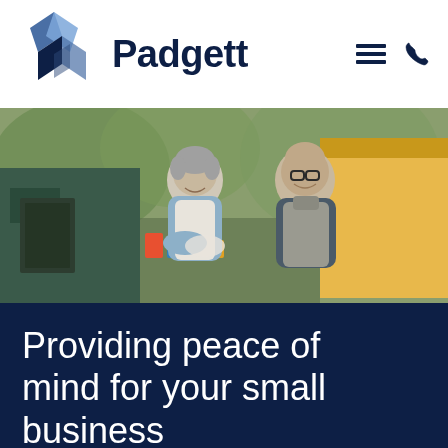[Figure (logo): Padgett logo: diamond-shaped icon made of blue geometric pieces in dark navy, medium blue, and light blue, with 'Padgett' in dark navy bold text beside it. Navigation icons (hamburger menu and phone) on the right.]
[Figure (photo): Photograph of two middle-aged small business owners (a woman with short grey hair and a man with glasses, both wearing aprons) smiling in front of a food truck or outdoor cafe. The background shows a yellow vehicle and green foliage.]
Providing peace of mind for your small business